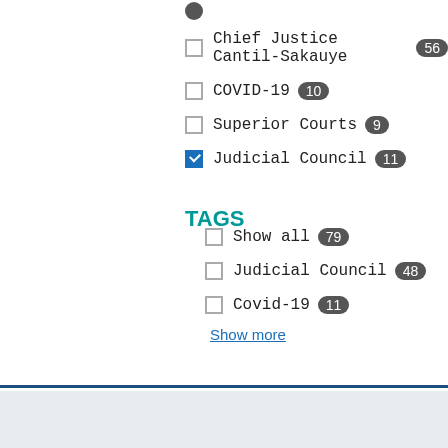Chief Justice Cantil-Sakauye 56
COVID-19 10
Superior Courts 9
Judicial Council 11 (checked)
TAGS
Show all 79
Judicial Council 48
Covid-19 11
Show more